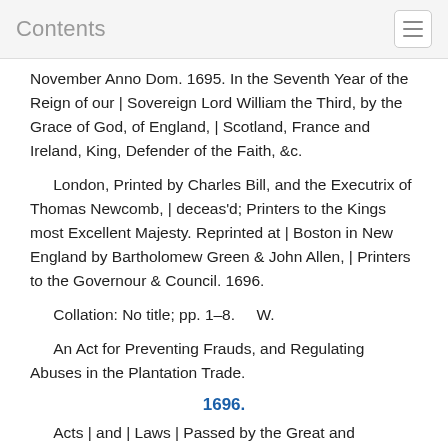Contents
November Anno Dom. 1695. In the Seventh Year of the Reign of our | Sovereign Lord William the Third, by the Grace of God, of England, | Scotland, France and Ireland, King, Defender of the Faith, &c.
London, Printed by Charles Bill, and the Executrix of Thomas Newcomb, | deceas'd; Printers to the Kings most Excellent Majesty. Reprinted at | Boston in New England by Bartholomew Green & John Allen, | Printers to the Governour & Council. 1696.
Collation: No title; pp. 1–8.     W.
An Act for Preventing Frauds, and Regulating Abuses in the Plantation Trade.
1696.
Acts | and | Laws | Passed by the Great and